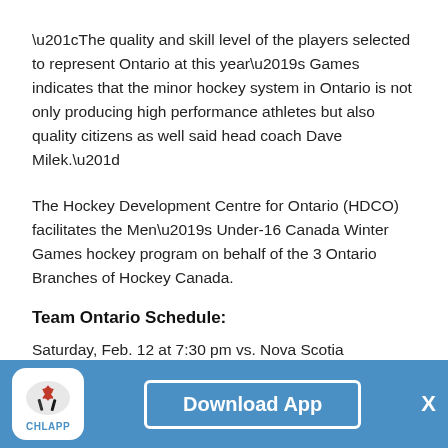“The quality and skill level of the players selected to represent Ontario at this year’s Games indicates that the minor hockey system in Ontario is not only producing high performance athletes but also quality citizens as well said head coach Dave Milek.”
The Hockey Development Centre for Ontario (HDCO) facilitates the Men’s Under-16 Canada Winter Games hockey program on behalf of the 3 Ontario Branches of Hockey Canada.
Team Ontario Schedule:
Saturday, Feb. 12 at 7:30 pm vs. Nova Scotia
[Figure (other): CHL App advertisement banner with logo, Download App button, and close X button]